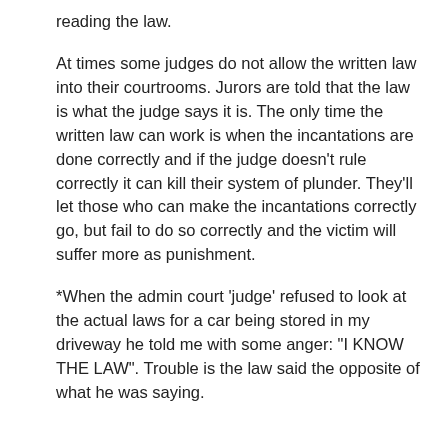reading the law.
At times some judges do not allow the written law into their courtrooms. Jurors are told that the law is what the judge says it is. The only time the written law can work is when the incantations are done correctly and if the judge doesn't rule correctly it can kill their system of plunder. They'll let those who can make the incantations correctly go, but fail to do so correctly and the victim will suffer more as punishment.
*When the admin court 'judge' refused to look at the actual laws for a car being stored in my driveway he told me with some anger: "I KNOW THE LAW". Trouble is the law said the opposite of what he was saying.